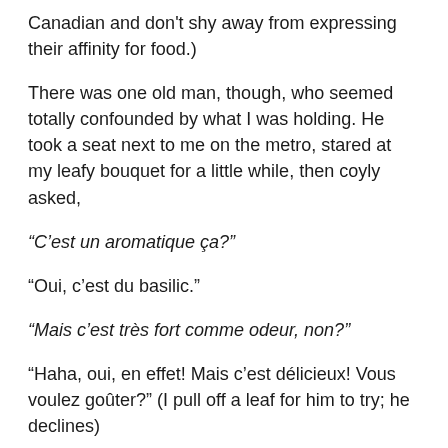Canadian and don't shy away from expressing their affinity for food.)
There was one old man, though, who seemed totally confounded by what I was holding. He took a seat next to me on the metro, stared at my leafy bouquet for a little while, then coyly asked,
“C’est un aromatique ça?”
“Oui, c’est du basilic.”
“Mais c’est très fort comme odeur, non?”
“Haha, oui, en effet! Mais c’est délicieux! Vous voulez goûter?” (I pull off a leaf for him to try; he declines)
“Qu’est-ce que vous allez faire avec tout ça?”
“Du pesto, monsieur.”